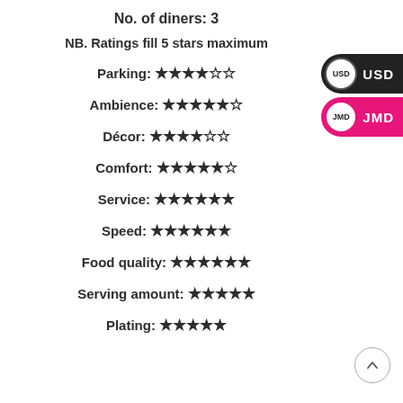No. of diners: 3
NB. Ratings fill 5 stars maximum
Parking: ★★★★☆☆
Ambience: ★★★★★☆
Décor: ★★★★☆☆
Comfort: ★★★★★☆
Service: ★★★★★★
Speed: ★★★★★★
Food quality: ★★★★★★
Serving amount: ★★★★★
Plating: ★★★★★